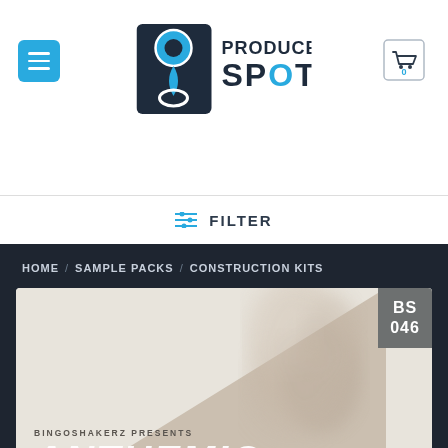[Figure (logo): Producer Spot logo with location pin icon and text 'PRODUCER SPOT']
[Figure (screenshot): Blue hamburger menu button on left, shopping cart icon with 0 badge on right]
≡ FILTER
HOME / SAMPLE PACKS / CONSTRUCTION KITS
[Figure (photo): Product card for Bingoshakerz Anthemic sample pack. Shows BS 046 tag, smoke cloud imagery, geometric triangle shape, text 'BINGOSHAKERZ PRESENTS' and 'ANTHEMIC' at bottom.]